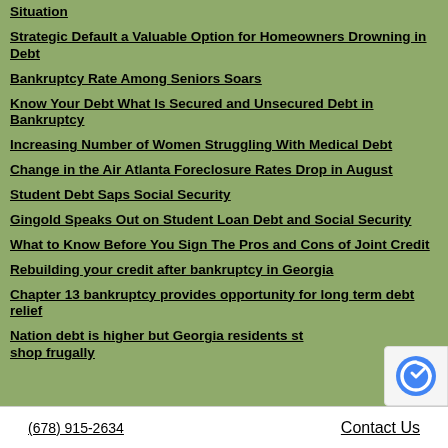Situation
Strategic Default a Valuable Option for Homeowners Drowning in Debt
Bankruptcy Rate Among Seniors Soars
Know Your Debt What Is Secured and Unsecured Debt in Bankruptcy
Increasing Number of Women Struggling With Medical Debt
Change in the Air Atlanta Foreclosure Rates Drop in August
Student Debt Saps Social Security
Gingold Speaks Out on Student Loan Debt and Social Security
What to Know Before You Sign The Pros and Cons of Joint Credit
Rebuilding your credit after bankruptcy in Georgia
Chapter 13 bankruptcy provides opportunity for long term debt relief
Nation debt is higher but Georgia residents st... shop frugally
(678) 915-2634     Contact Us